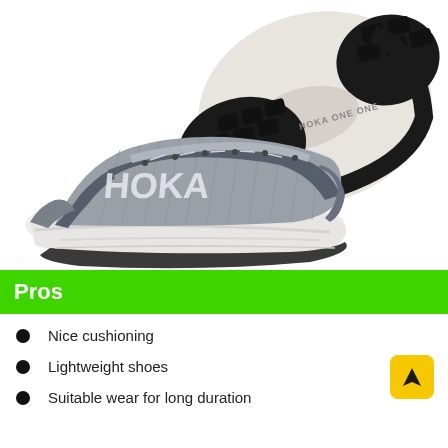[Figure (photo): Two HOKA running shoes (gray/white colorway with black sole) shown from the side and bottom — one shoe displayed laterally showing the textured knit upper with HOKA branding, thick white foam midsole, and dark outsole; the second shoe shown sole-up revealing the black rubber tread pattern.]
Pros
Nice cushioning
Lightweight shoes
Suitable wear for long duration